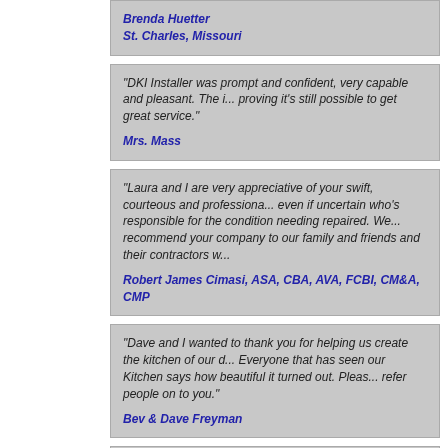Brenda Huetter
St. Charles, Missouri
"DKI Installer was prompt and confident, very capable and pleasant. The i... proving it's still possible to get great service."
Mrs. Mass
"Laura and I are very appreciative of your swift, courteous and professiona... even if uncertain who's responsible for the condition needing repaired. We... recommend your company to our family and friends and their contractors w..."
Robert James Cimasi, ASA, CBA, AVA, FCBI, CM&A, CMP
"Dave and I wanted to thank you for helping us create the kitchen of our d... Everyone that has seen our Kitchen says how beautiful it turned out. Pleas... refer people on to you."
Bev & Dave Freyman
"We are pleased with everything (The installer was great, kind, helpful an...
Kathy Rechtin & John Whistrich
St. Louis, Missouri
"Beautiful job and very nice gentlemen.